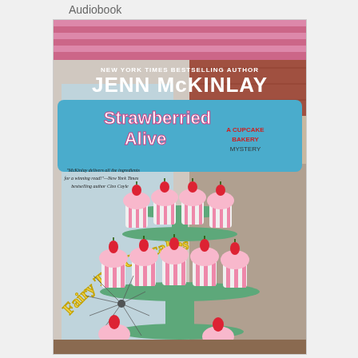Audiobook
[Figure (illustration): Book cover for 'Strawberried Alive' by Jenn McKinlay. The cover shows a tiered cake stand with pink and white striped cupcakes topped with strawberries, set in front of a bakery storefront. The cover includes text: 'NEW YORK TIMES BESTSELLING AUTHOR', 'JENN McKINLAY', 'Strawberried Alive', 'A Cupcake Bakery Mystery', 'Fairy Tale Cupcakes', and a quote from New York Times bestselling author Cleo Coyle: 'McKinlay delivers all the ingredients for a winning read!']